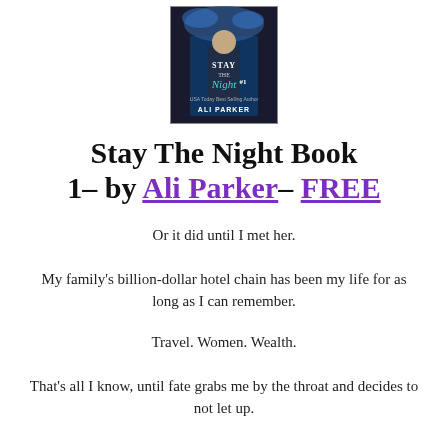[Figure (illustration): Book cover of 'Stay The Night #1' by Ali Parker, showing a man in a suit with the title text and author name on a dark background.]
Stay The Night Book 1– by Ali Parker– FREE
Or it did until I met her.
My family's billion-dollar hotel chain has been my life for as long as I can remember.
Travel. Women. Wealth.
That's all I know, until fate grabs me by the throat and decides to not let up.